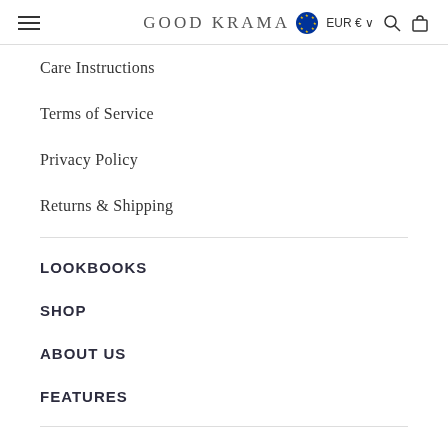GOOD KRAMA | EUR € | Search | Bag
Care Instructions
Terms of Service
Privacy Policy
Returns & Shipping
LOOKBOOKS
SHOP
ABOUT US
FEATURES